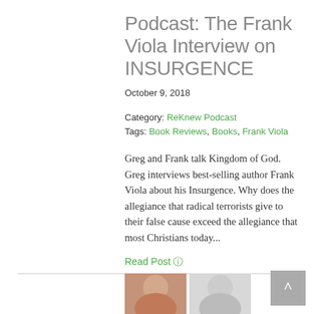Podcast: The Frank Viola Interview on INSURGENCE
October 9, 2018
Category: ReKnew Podcast
Tags: Book Reviews, Books, Frank Viola
Greg and Frank talk Kingdom of God. Greg interviews best-selling author Frank Viola about his Insurgence. Why does the allegiance that radical terrorists give to their false cause exceed the allegiance that most Christians today...
Read Post ➤
[Figure (photo): Two faces/portraits partially visible at the bottom of the page]